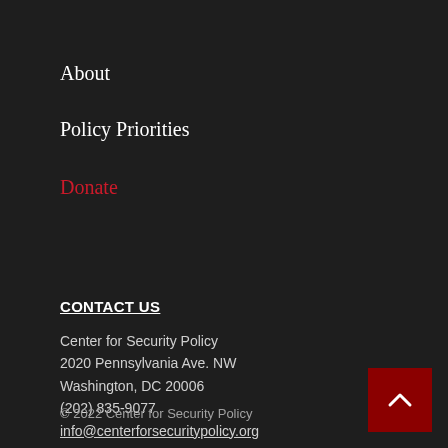About
Policy Priorities
Donate
CONTACT US
Center for Security Policy
2020 Pennsylvania Ave. NW
Washington, DC 20006
(202) 835-9077
info@centerforsecuritypolicy.org
© 2022 Center for Security Policy